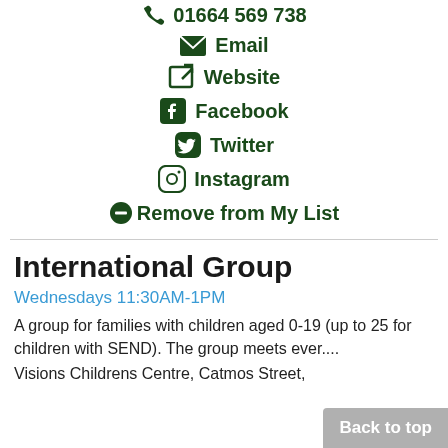01664 569 738
Email
Website
Facebook
Twitter
Instagram
Remove from My List
International Group
Wednesdays 11:30AM-1PM
A group for families with children aged 0-19 (up to 25 for children with SEND). The group meets ever....
Visions Childrens Centre, Catmos Street,